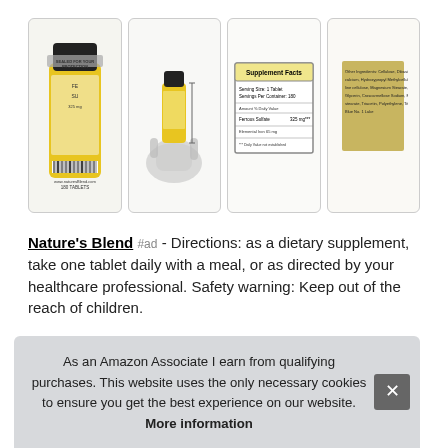[Figure (photo): Four product images of Nature's Blend Ferrous Sulfate tablets: (1) back of yellow supplement bottle showing label and barcode, (2) small bottle of tablets held in a hand for size reference, (3) Supplement Facts panel showing serving size 1 tablet, servings per container 180, Ferrous Sulfate 325mg per serving, (4) Other ingredients text label on gold background]
Nature's Blend #ad - Directions: as a dietary supplement, take one tablet daily with a meal, or as directed by your healthcare professional. Safety warning: Keep out of the reach of children.
As an Amazon Associate I earn from qualifying purchases. This website uses the only necessary cookies to ensure you get the best experience on our website. More information